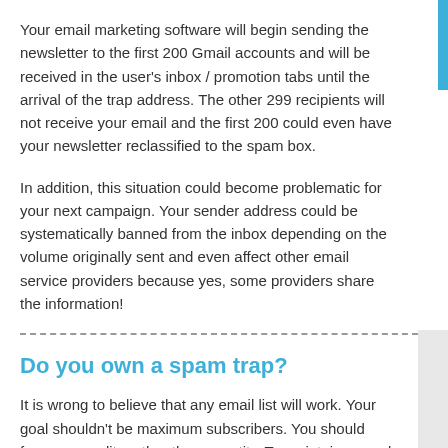Your email marketing software will begin sending the newsletter to the first 200 Gmail accounts and will be received in the user's inbox / promotion tabs until the arrival of the trap address. The other 299 recipients will not receive your email and the first 200 could even have your newsletter reclassified to the spam box.
In addition, this situation could become problematic for your next campaign. Your sender address could be systematically banned from the inbox depending on the volume originally sent and even affect other email service providers because yes, some providers share the information!
Do you own a spam trap?
It is wrong to believe that any email list will work. Your goal shouldn't be maximum subscribers. You should focus on quality rather than quantity. To maintain a good reputation